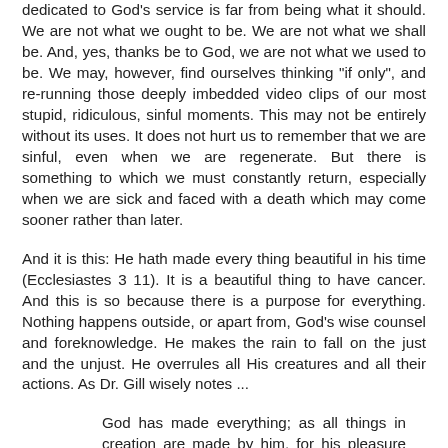dedicated to God's service is far from being what it should. We are not what we ought to be. We are not what we shall be. And, yes, thanks be to God, we are not what we used to be. We may, however, find ourselves thinking "if only", and re-running those deeply imbedded video clips of our most stupid, ridiculous, sinful moments. This may not be entirely without its uses. It does not hurt us to remember that we are sinful, even when we are regenerate. But there is something to which we must constantly return, especially when we are sick and faced with a death which may come sooner rather than later.
And it is this: He hath made every thing beautiful in his time (Ecclesiastes 3 11). It is a beautiful thing to have cancer. And this is so because there is a purpose for everything. Nothing happens outside, or apart from, God's wise counsel and foreknowledge. He makes the rain to fall on the just and the unjust. He overrules all His creatures and all their actions. As Dr. Gill wisely notes ...
God has made everything; as all things in creation are made by him, for his pleasure and